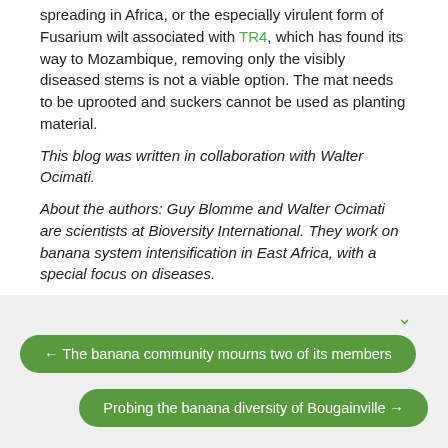spreading in Africa, or the especially virulent form of Fusarium wilt associated with TR4, which has found its way to Mozambique, removing only the visibly diseased stems is not a viable option. The mat needs to be uprooted and suckers cannot be used as planting material.
This blog was written in collaboration with Walter Ocimati.
About the authors: Guy Blomme and Walter Ocimati are scientists at Bioversity International. They work on banana system intensification in East Africa, with a special focus on diseases.
← The banana community mourns two of its members
Probing the banana diversity of Bougainville →
Miguel Dita 28 Feb 2018 11:54
Congrats! Very well pointed out: Farmers should not forget sanitation measures!